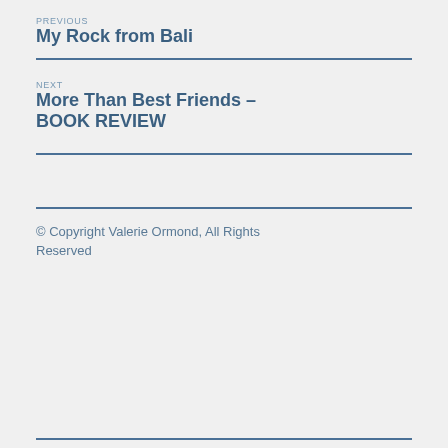PREVIOUS
My Rock from Bali
NEXT
More Than Best Friends – BOOK REVIEW
© Copyright Valerie Ormond, All Rights Reserved